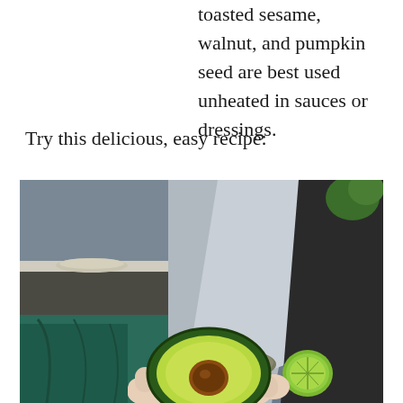toasted sesame, walnut, and pumpkin seed are best used unheated in sauces or dressings.
Try this delicious, easy recipe:
[Figure (photo): A person's hand holding half an avocado with a pit, with carrots and a lime visible on a plate in the background. The setting appears to be a kitchen or dining area with teal/green fabric and a large light reflector panel visible.]